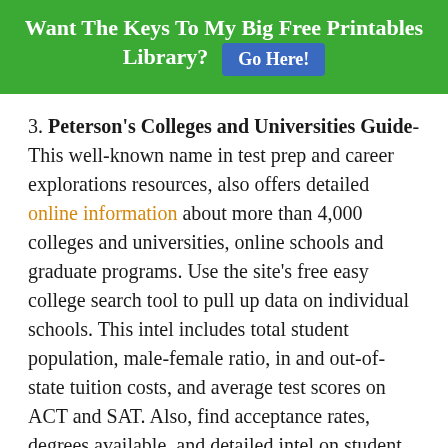Want The Keys To My Big Free Printables Library? Go Here!
3. Peterson's Colleges and Universities Guide-This well-known name in test prep and career explorations resources, also offers detailed online information about more than 4,000 colleges and universities, online schools and graduate programs. Use the site's free easy college search tool to pull up data on individual schools. This intel includes total student population, male-female ratio, in and out-of-state tuition costs, and average test scores on ACT and SAT. Also, find acceptance rates, degrees available, and detailed intel on student body and faculty composition.
Additionally, on the site you can search a database of more than 1.5 million available scholarships, grants, fellowships, prizes & forgivable loans. By setting up a